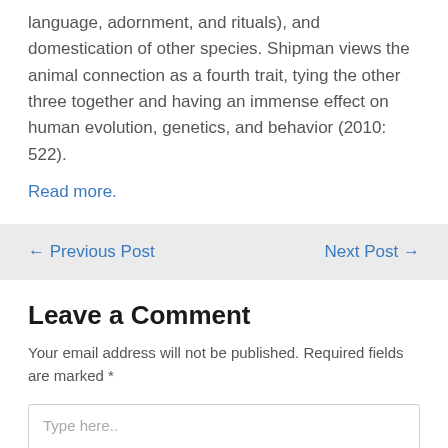language, adornment, and rituals), and domestication of other species. Shipman views the animal connection as a fourth trait, tying the other three together and having an immense effect on human evolution, genetics, and behavior (2010: 522).
Read more.
← Previous Post
Next Post →
Leave a Comment
Your email address will not be published. Required fields are marked *
Type here..